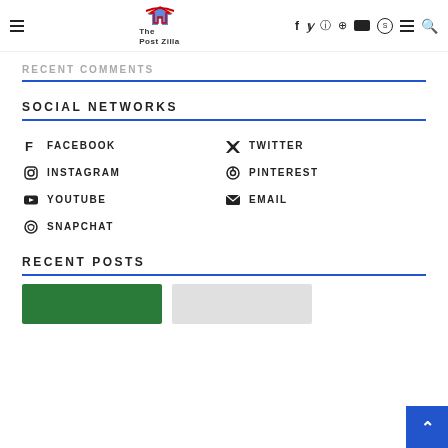The Post Zilla — navigation header with social icons
RECENT COMMENTS
SOCIAL NETWORKS
FACEBOOK
TWITTER
INSTAGRAM
PINTEREST
YOUTUBE
EMAIL
SNAPCHAT
RECENT POSTS
[Figure (photo): Green thumbnail image for recent post]
[Figure (photo): Gray thumbnail image for recent post]